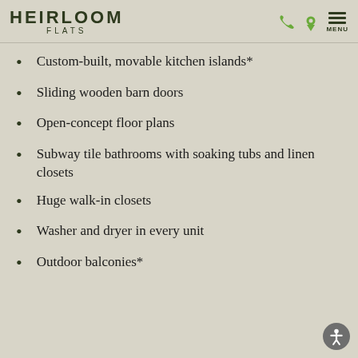HEIRLOOM FLATS
Custom-built, movable kitchen islands*
Sliding wooden barn doors
Open-concept floor plans
Subway tile bathrooms with soaking tubs and linen closets
Huge walk-in closets
Washer and dryer in every unit
Outdoor balconies*